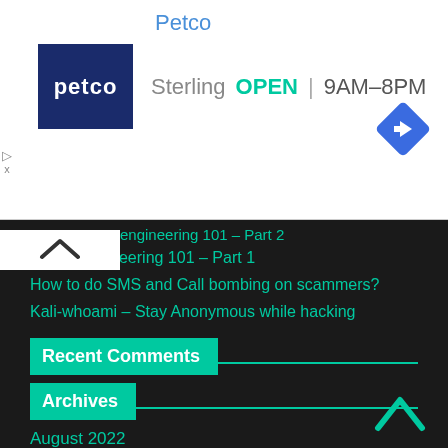Petco
[Figure (logo): Petco logo - white text on dark blue square background]
Sterling  OPEN  9AM–8PM
[Figure (other): Blue diamond navigation/directions icon]
engineering 101 – Part 2
Social Engineering 101 – Part 1
How to do SMS and Call bombing on scammers?
Kali-whoami – Stay Anonymous while hacking
Recent Comments
Archives
August 2022
July 2022
November 2021